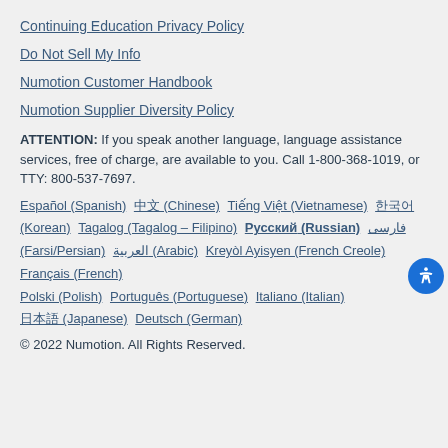Continuing Education Privacy Policy
Do Not Sell My Info
Numotion Customer Handbook
Numotion Supplier Diversity Policy
ATTENTION: If you speak another language, language assistance services, free of charge, are available to you. Call 1-800-368-1019, or TTY: 800-537-7697.
Español (Spanish)  中文 (Chinese)  Tiếng Việt (Vietnamese)  한국어 (Korean)  Tagalog (Tagalog – Filipino)  Русский (Russian)  فارسی (Farsi/Persian)  العربية (Arabic)  Kreyòl Ayisyen (French Creole)  Français (French)  Polski (Polish)  Português (Portuguese)  Italiano (Italian)  日本語 (Japanese)  Deutsch (German)
© 2022 Numotion. All Rights Reserved.